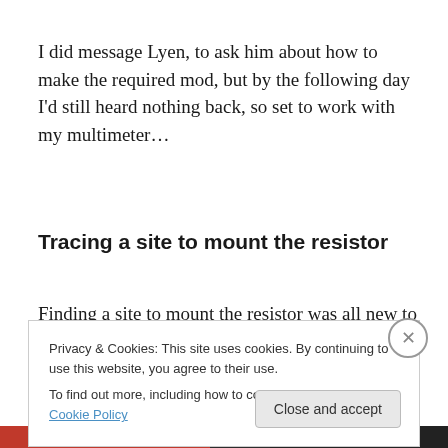I did message Lyen, to ask him about how to make the required mod, but by the following day I'd still heard nothing back, so set to work with my multimeter…
Tracing a site to mount the resistor
Finding a site to mount the resistor was all new to me, but was also common sense when you think about it. The tiny
Privacy & Cookies: This site uses cookies. By continuing to use this website, you agree to their use.
To find out more, including how to control cookies, see here: Cookie Policy